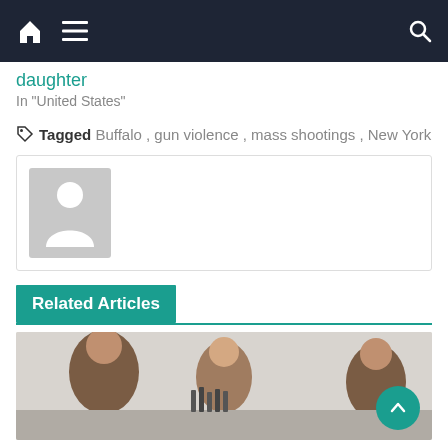Navigation bar with home, menu, and search icons
daughter
In "United States"
Tagged Buffalo, gun violence, mass shootings, New York
[Figure (photo): Author placeholder avatar — grey silhouette of a person on a grey background]
Related Articles
[Figure (photo): Photo of three women sitting at a table in what appears to be a bar or restaurant setting]